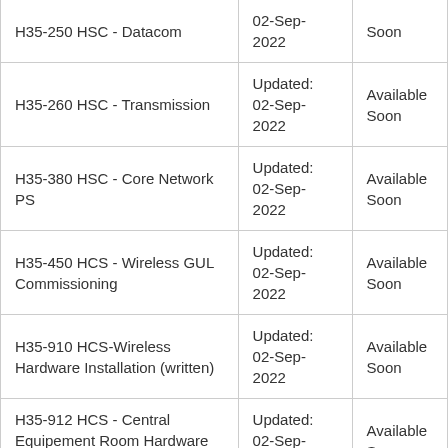| Exam | Date | Status |
| --- | --- | --- |
| H35-250 HSC - Datacom | Updated: 02-Sep-2022 | Available Soon |
| H35-260 HSC - Transmission | Updated: 02-Sep-2022 | Available Soon |
| H35-380 HSC - Core Network PS | Updated: 02-Sep-2022 | Available Soon |
| H35-450 HCS - Wireless GUL Commissioning | Updated: 02-Sep-2022 | Available Soon |
| H35-910 HCS-Wireless Hardware Installation (written) | Updated: 02-Sep-2022 | Available Soon |
| H35-912 HCS - Central Equipement Room Hardware Installation (Written) | Updated: 02-Sep-2022 | Available Soon |
| H35-440 HSC - Site... | Updated: | Available... |